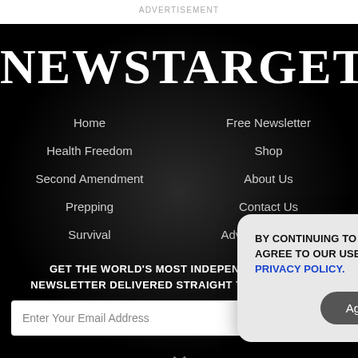ADVERTISEMENT
NEWSTARGET
Home
Free Newsletter
Health Freedom
Shop
Second Amendment
About Us
Prepping
Contact Us
Survival
Advertise With Us
GET THE WORLD'S MOST INDEPENDENT MEDIA NEWSLETTER DELIVERED STRAIGHT TO YOUR INBOX.
Enter Your Email Address
SUBSCRIBE
[Figure (screenshot): Cookie consent popup overlay with text: BY CONTINUING TO BROWSE OUR SITE YOU AGREE TO OUR USE OF COOKIES AND OUR PRIVACY POLICY. With an Agree and close button and X close button.]
X (close)